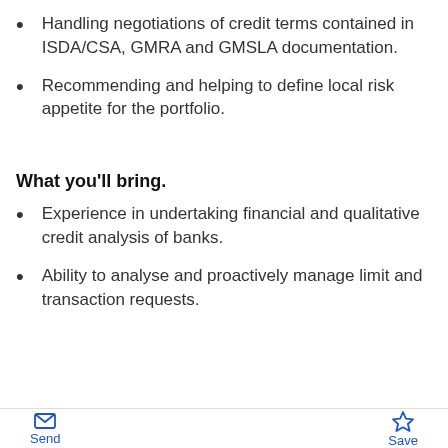Handling negotiations of credit terms contained in ISDA/CSA, GMRA and GMSLA documentation.
Recommending and helping to define local risk appetite for the portfolio.
What you'll bring.
Experience in undertaking financial and qualitative credit analysis of banks.
Ability to analyse and proactively manage limit and transaction requests.
Send  Save